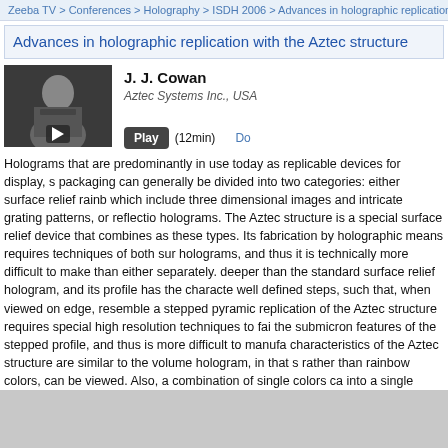Zeeba TV > Conferences > Holography > ISDH 2006 > Advances in holographic replication with
Advances in holographic replication with the Aztec structure
[Figure (photo): Headshot photo of J. J. Cowan, a man in a suit, with a video play button overlay]
J. J. Cowan
Aztec Systems Inc., USA
Play (12min) Do
Holograms that are predominantly in use today as replicable devices for display, s packaging can generally be divided into two categories: either surface relief rainb which include three dimensional images and intricate grating patterns, or reflectio holograms. The Aztec structure is a special surface relief device that combines as these types. Its fabrication by holographic means requires techniques of both sur holograms, and thus it is technically more difficult to make than either separately. deeper than the standard surface relief hologram, and its profile has the characte well defined steps, such that, when viewed on edge, resemble a stepped pyramic replication of the Aztec structure requires special high resolution techniques to fai the submicron features of the stepped profile, and thus is more difficult to manufa characteristics of the Aztec structure are similar to the volume hologram, in that s rather than rainbow colors, can be viewed. Also, a combination of single colors ca into a single master, yielding unique visual effects.
No related posts.